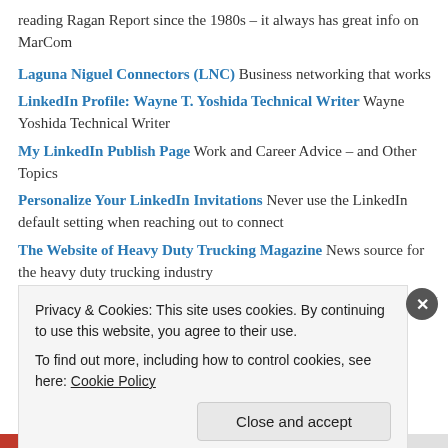reading Ragan Report since the 1980s – it always has great info on MarCom
Laguna Niguel Connectors (LNC) Business networking that works
LinkedIn Profile: Wayne T. Yoshida Technical Writer  Wayne Yoshida Technical Writer
My LinkedIn Publish Page  Work and Career Advice – and Other Topics
Personalize Your LinkedIn Invitations  Never use the LinkedIn default setting when reaching out to connect
The Website of Heavy Duty Trucking Magazine  News source for the heavy duty trucking industry
YouTube Channels
Privacy & Cookies: This site uses cookies. By continuing to use this website, you agree to their use.
To find out more, including how to control cookies, see here: Cookie Policy
Close and accept